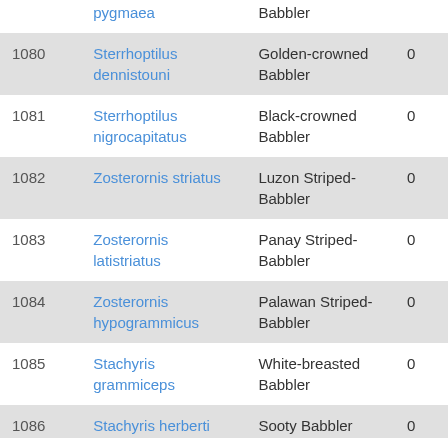| # | Scientific Name | Common Name | Count |
| --- | --- | --- | --- |
|  | pygmaea | Babbler |  |
| 1080 | Sterrhoptilus dennistouni | Golden-crowned Babbler | 0 |
| 1081 | Sterrhoptilus nigrocapitatus | Black-crowned Babbler | 0 |
| 1082 | Zosterornis striatus | Luzon Striped-Babbler | 0 |
| 1083 | Zosterornis latistriatus | Panay Striped-Babbler | 0 |
| 1084 | Zosterornis hypogrammicus | Palawan Striped-Babbler | 0 |
| 1085 | Stachyris grammiceps | White-breasted Babbler | 0 |
| 1086 | Stachyris herberti | Sooty Babbler | 0 |